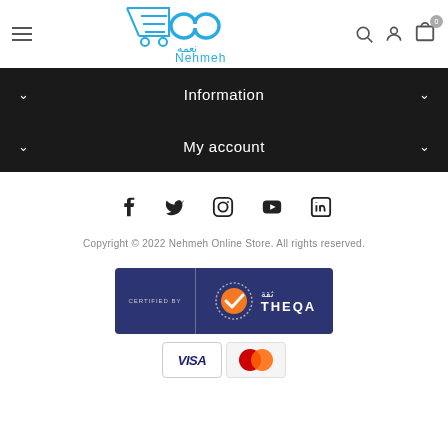Nehmeh Online Store header with logo, hamburger menu, search, account, and cart icons
Information
My account
[Figure (infographic): Social media icons: Facebook, Twitter, Instagram, YouTube, LinkedIn]
Copyright © 2022 Nehmeh Online Store. All rights reserved.
[Figure (logo): CERTIFIED BY THEQA badge with Arabic text ثقة and checkmark logo on dark navy background]
[Figure (infographic): Payment method icons: VISA and Mastercard]